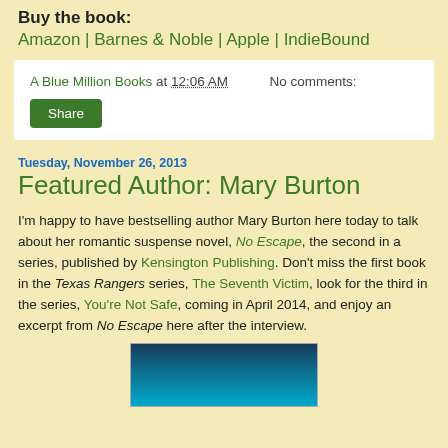Buy the book:
Amazon | Barnes & Noble | Apple | IndieBound
A Blue Million Books at 12:06 AM   No comments:
Share
Tuesday, November 26, 2013
Featured Author: Mary Burton
I'm happy to have bestselling author Mary Burton here today to talk about her romantic suspense novel, No Escape, the second in a series, published by Kensington Publishing. Don't miss the first book in the Texas Rangers series, The Seventh Victim, look for the third in the series, You're Not Safe, coming in April 2014, and enjoy an excerpt from No Escape here after the interview.
[Figure (photo): Book cover image partially visible at bottom of page]